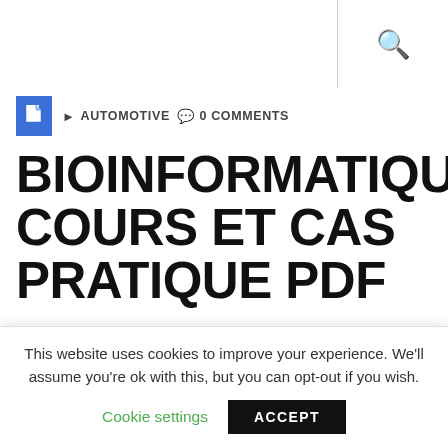🔍
AUTOMOTIVE  🗨 0 COMMENTS
BIOINFORMATIQUE COURS ET CAS PRATIQUE PDF
Posted on OCTOBER 2, 2019 By admin
This website uses cookies to improve your experience. We'll assume you're ok with this, but you can opt-out if you wish.
Cookie settings   ACCEPT